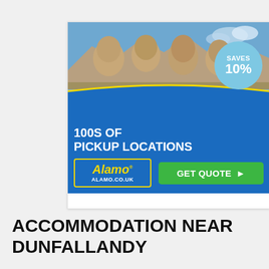[Figure (illustration): Alamo car rental advertisement showing Mount Rushmore in the background with a blue band at bottom. A light blue circle reads 'SAVES 10%'. Text reads '100S OF PICKUP LOCATIONS'. Shows Alamo logo, ALAMO.CO.UK, and a green 'GET QUOTE' button.]
ACCOMMODATION NEAR DUNFALLANDY